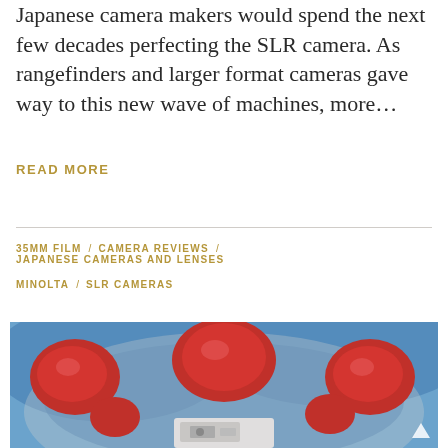Japanese camera makers would spend the next few decades perfecting the SLR camera. As rangefinders and larger format cameras gave way to this new wave of machines, more…
READ MORE
35MM FILM / CAMERA REVIEWS / JAPANESE CAMERAS AND LENSES / MINOLTA / SLR CAMERAS
[Figure (photo): Close-up photo of a camera placed in front of a clown mask or face with red and blue coloring, viewed from above.]